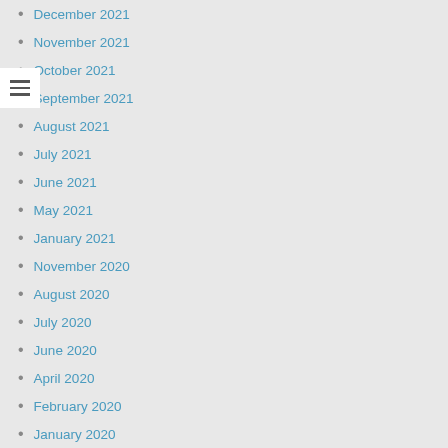December 2021
November 2021
October 2021
September 2021
August 2021
July 2021
June 2021
May 2021
January 2021
November 2020
August 2020
July 2020
June 2020
April 2020
February 2020
January 2020
December 2019
November 2019